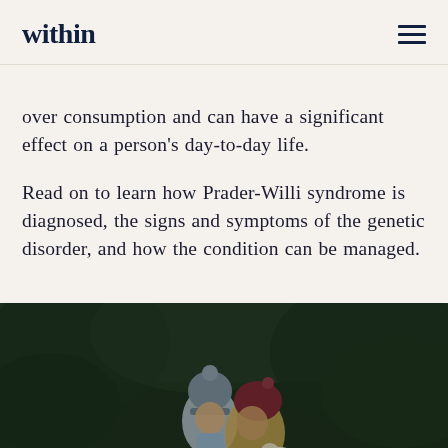within
over consumption and can have a significant effect on a person's day-to-day life.
Read on to learn how Prader-Willi syndrome is diagnosed, the signs and symptoms of the genetic disorder, and how the condition can be managed.
[Figure (photo): Photo of two children or a parent and child outdoors, both wearing winter hats — one grey knit hat with pompom, one dark red/burgundy hat — in a forested setting]